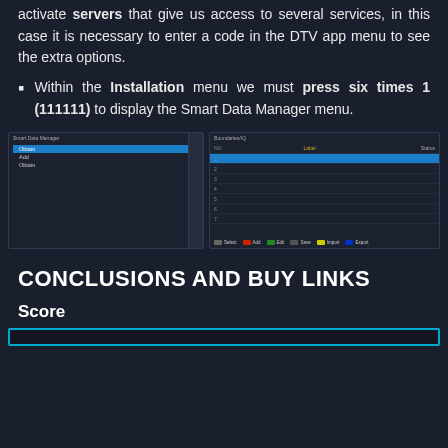activate servers that give us access to several services, in this case it is necessary to enter a code in the DTV app menu to see the extra options.
Within the Installation menu we must press six times 1 (111111) to display the Smart Data Manager menu.
[Figure (screenshot): Two TV/DTV app screenshots side by side. Left shows the Smart Data Manager menu with options: Obtain (highlighted in blue), Add, and Obtain. Right shows the Boundaries/IQ menu with columns NO, Label, Status — 7 rows, first row highlighted blue. Bottom legend shows colored buttons: grey=Select/Search, red=Add, green=Edit, grey2=Delete/Save, yellow=Import, blue=Export.]
CONCLUSIONS AND BUY LINKS
Score